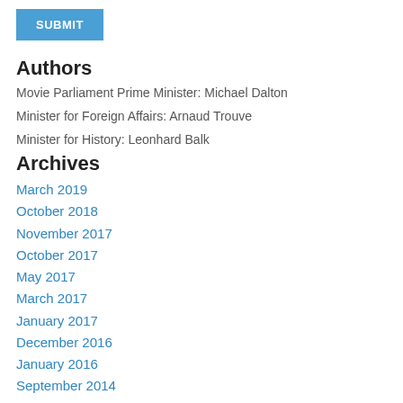[Figure (other): Blue SUBMIT button]
Authors
Movie Parliament Prime Minister: Michael Dalton
Minister for Foreign Affairs: Arnaud Trouve
Minister for History: Leonhard Balk
Archives
March 2019
October 2018
November 2017
October 2017
May 2017
March 2017
January 2017
December 2016
January 2016
September 2014
August 2014